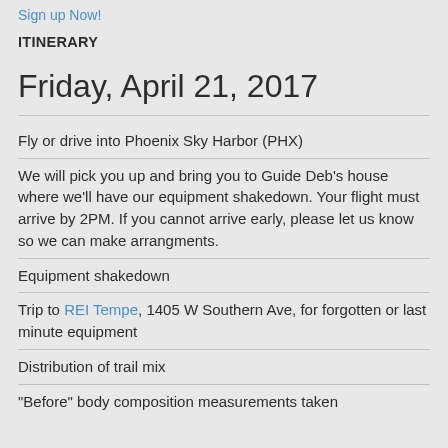Sign up Now!
ITINERARY
Friday, April 21, 2017
Fly or drive into Phoenix Sky Harbor (PHX)
We will pick you up and bring you to Guide Deb's house where we'll have our equipment shakedown. Your flight must arrive by 2PM. If you cannot arrive early, please let us know so we can make arrangments.
Equipment shakedown
Trip to REI Tempe, 1405 W Southern Ave, for forgotten or last minute equipment
Distribution of trail mix
"Before" body composition measurements taken